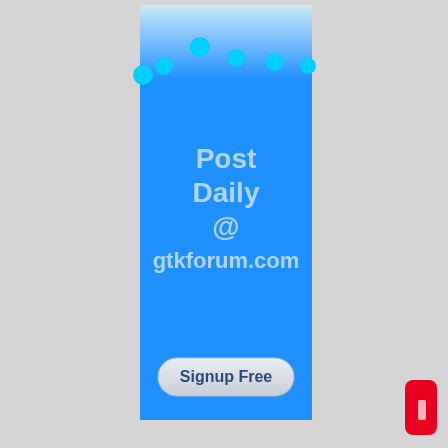[Figure (infographic): A vertical banner advertisement with a bright blue background, scalloped/wave top edge with cyan circles at the peaks, containing white text 'Post Daily @ gtkforum.com' and a gray pill-shaped button labeled 'Signup Free'. Small red rounded rectangle in lower right corner.]